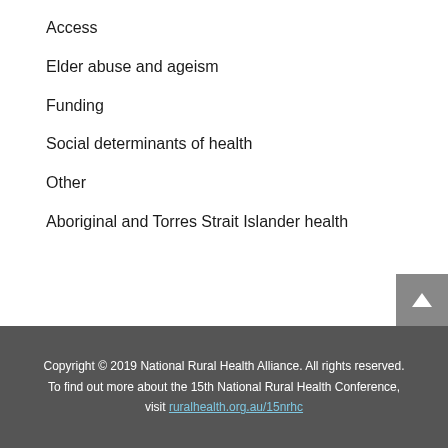Access
Elder abuse and ageism
Funding
Social determinants of health
Other
Aboriginal and Torres Strait Islander health
Copyright © 2019 National Rural Health Alliance. All rights reserved. To find out more about the 15th National Rural Health Conference, visit ruralhealth.org.au/15nrhc